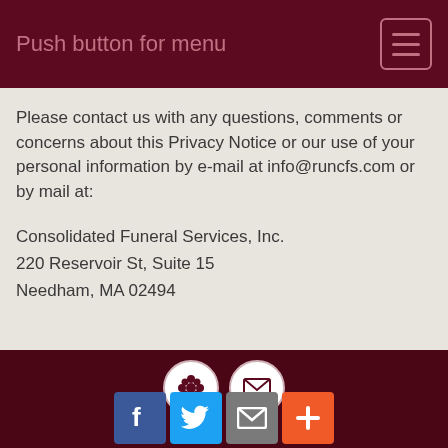Push button for menu
Please contact us with any questions, comments or concerns about this Privacy Notice or our use of your personal information by e-mail at info@runcfs.com or by mail at:
Consolidated Funeral Services, Inc.
220 Reservoir St, Suite 15
Needham, MA 02494
[Figure (infographic): Two circular icons on dark maroon footer: a flower/service icon and an envelope/mail icon, followed by a horizontal divider line]
[Figure (infographic): Four social share buttons: Facebook (blue, F), Twitter (light blue, bird), Email (gray, envelope), More (orange, plus sign)]